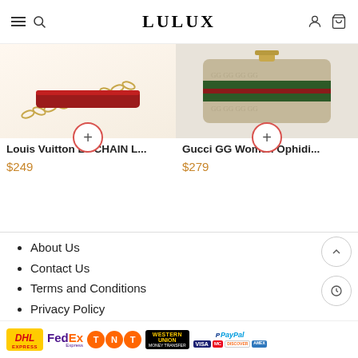LULUX
[Figure (photo): Louis Vuitton LV CHAIN L... product image showing a chain strap bag with red handle]
Louis Vuitton LV CHAIN L...
$249
[Figure (photo): Gucci GG Women Ophidi... product image showing a GG monogram shoulder bag with green and red stripe]
Gucci GG Women Ophidi...
$279
About Us
Contact Us
Terms and Conditions
Privacy Policy
Return & Refund
[Figure (logo): Payment logos: DHL Express, FedEx Express, TNT, Western Union, PayPal, Visa, Mastercard, Discover, American Express]